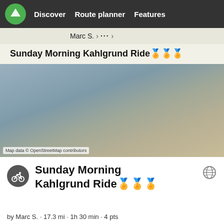Komoot navigation app header with Discover, Route planner, Features
Marc S. > ... >
Sunday Morning Kahlgrund Ride🏅🏅🏅
[Figure (map): Blurred/unfocused map background with muted blue-grey and tan tones representing an OpenStreetMap tile. Attribution: Map data © OpenStreetMap contributors]
Map data © OpenStreetMap contributors
Sunday Morning Kahlgrund Ride🏅🏅🏅
by Marc S. · 17.3 mi · 1h 30 min · 4 pts